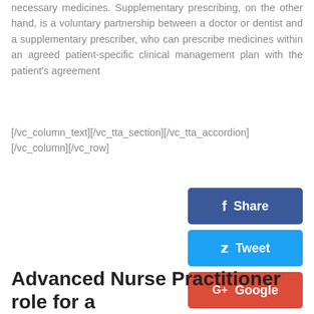necessary medicines. Supplementary prescribing, on the other hand, is a voluntary partnership between a doctor or dentist and a supplementary prescriber, who can prescribe medicines within an agreed patient-specific clinical management plan with the patient's agreement
[/vc_column_text][/vc_tta_section][/vc_tta_accordion] [/vc_column][/vc_row]
[Figure (other): Social share buttons: Facebook Share (dark blue), Twitter Tweet (light blue), Google+ Google (red)]
Advanced Nurse Practitioner role for a